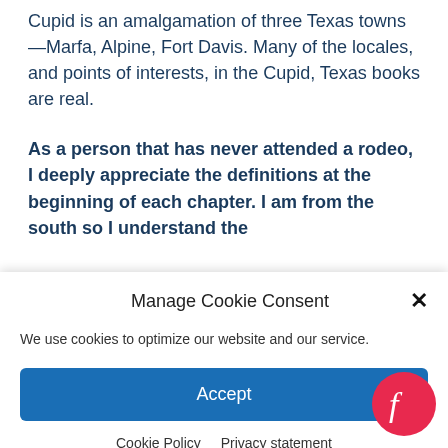Cupid is an amalgamation of three Texas towns—Marfa, Alpine, Fort Davis. Many of the locales, and points of interests, in the Cupid, Texas books are real.
As a person that has never attended a rodeo, I deeply appreciate the definitions at the beginning of each chapter. I am from the south so I understand the
Manage Cookie Consent
We use cookies to optimize our website and our service.
Accept
Cookie Policy   Privacy statement